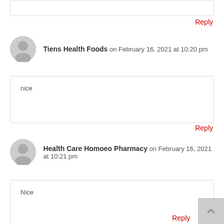Reply
Tiens Health Foods on February 16, 2021 at 10:20 pm
nice
Reply
Health Care Homoeo Pharmacy on February 16, 2021 at 10:21 pm
Nice
Reply